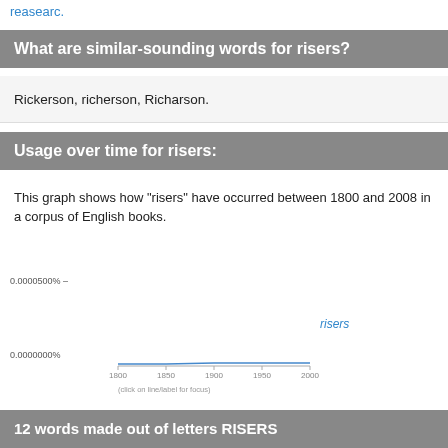reasearc.
What are similar-sounding words for risers?
Rickerson, richerson, Richarson.
Usage over time for risers:
This graph shows how "risers" have occurred between 1800 and 2008 in a corpus of English books.
[Figure (line-chart): Line chart showing frequency of 'risers' in English books from 1800 to 2000. Y-axis shows 0.0000000% at bottom and 0.0000500% at top. The line is nearly flat near zero. Legend shows 'risers' in blue.]
12 words made out of letters RISERS